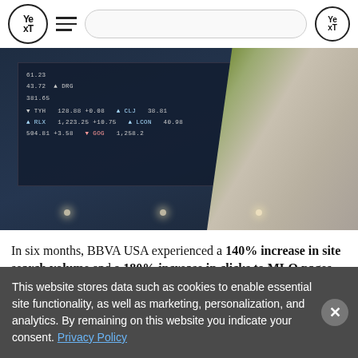Yext navigation bar with logo, hamburger menu, search bar, and right logo
[Figure (photo): Person in a green jacket holding a phone near a stock ticker board on a building exterior. The ticker board shows symbols including TYH, RLX, DRG, CLJ, LCON, GOG with various price values.]
In six months, BBVA USA experienced a 140% increase in site search volume and a 180% increase in clicks to MLO pages — driving a total of more than 8,000 clicks from qualified leads.
This website stores data such as cookies to enable essential site functionality, as well as marketing, personalization, and analytics. By remaining on this website you indicate your consent. Privacy Policy